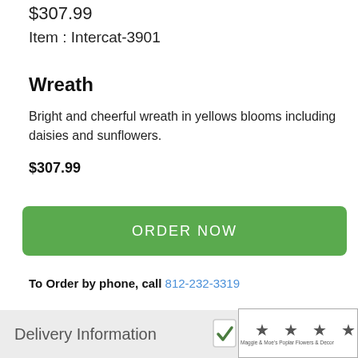$307.99
Item : Intercat-3901
Wreath
Bright and cheerful wreath in yellows blooms including daisies and sunflowers.
$307.99
ORDER NOW
To Order by phone, call 812-232-3319
Delivery Information
[Figure (logo): Maggie & Moe's Poplar Flowers & Decor rating badge with checkmark and 5 orange stars]